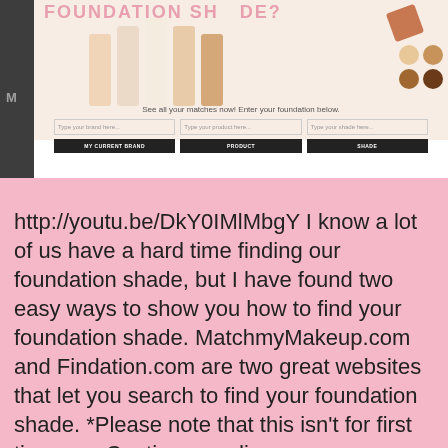[Figure (screenshot): Screenshot of a website about finding foundation shade, showing swatches, color circles, and a form with fields MY CURRENT BRAND, PRODUCT, SHADE]
http://youtu.be/DkY0IMlMbgY I know a lot of us have a hard time finding our foundation shade, but I have found two easy ways to show you how to find your foundation shade. MatchmyMakeup.com and Findation.com are two great websites that let you search to find your foundation shade. *Please note that this isn't for first time…… Continue reading